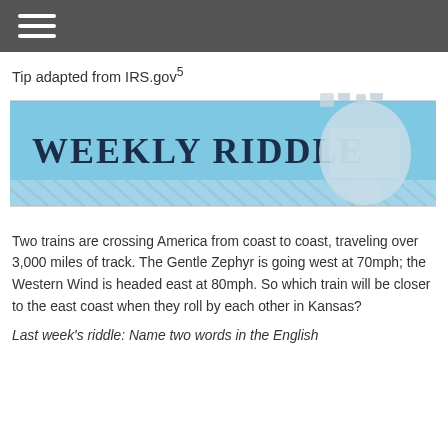[hamburger menu icon]
Tip adapted from IRS.gov5
[Figure (illustration): Weekly Riddle banner with light blue background, puzzle-piece head silhouette on the right, diagonal lines at the bottom, and floating puzzle pieces at the top right. Text reads WEEKLY RIDDLE.]
Two trains are crossing America from coast to coast, traveling over 3,000 miles of track. The Gentle Zephyr is going west at 70mph; the Western Wind is headed east at 80mph. So which train will be closer to the east coast when they roll by each other in Kansas?
Last week's riddle: Name two words in the English